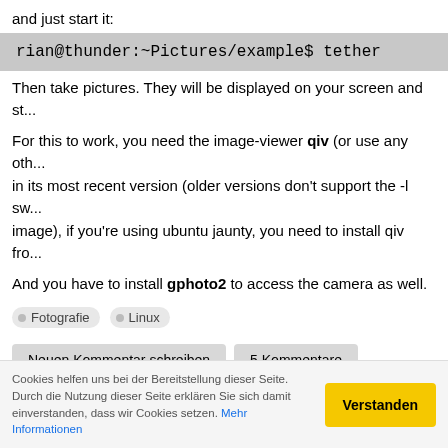and just start it:
rian@thunder:~Pictures/example$ tether
Then take pictures. They will be displayed on your screen and st...
For this to work, you need the image-viewer qiv (or use any other...) in its most recent version (older versions don't support the -l sw... image), if you're using ubuntu jaunty, you need to install qiv fro...
And you have to install gphoto2 to access the camera as well.
Fotografie
Linux
Neuen Kommentar schreiben   5 Kommentare
Solution found: nvidia 180 dkms build fa...
Cookies helfen uns bei der Bereitstellung dieser Seite. Durch die Nutzung dieser Seite erklären Sie sich damit einverstanden, dass wir Cookies setzen. Mehr Informationen